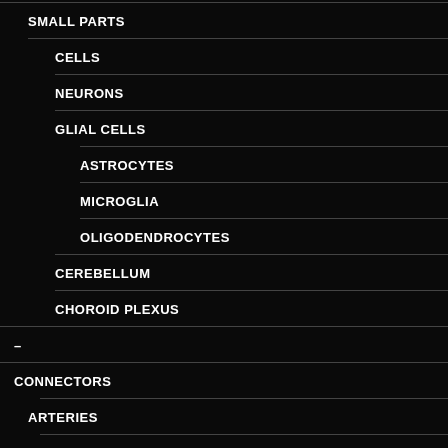SMALL PARTS
CELLS
NEURONS
GLIAL CELLS
ASTROCYTES
MICROGLIA
OLIGODENDROCYTES
CEREBELLUM
CHOROID PLEXUS
–
CONNECTORS
ARTERIES